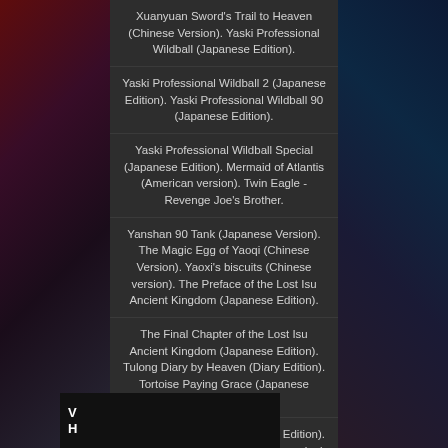Xuanyuan Sword's Trail to Heaven (Chinese Version). Yaski Professional Wildball (Japanese Edition).
Yaski Professional Wildball 2 (Japanese Edition). Yaski Professional Wildball 90 (Japanese Edition).
Yaski Professional Wildball Special (Japanese Edition). Mermaid of Atlantis (American version). Twin Eagle - Revenge Joe's Brother.
Yanshan 90 Tank (Japanese Version). The Magic Egg of Yaoqi (Chinese Version). Yaoxi's biscuits (Chinese version). The Preface of the Lost Isu Ancient Kingdom (Japanese Edition).
The Final Chapter of the Lost Isu Ancient Kingdom (Japanese Edition). Tulong Diary by Heaven (Diary Edition). Tortoise Paying Grace (Japanese Edition).
Alien Space Explorer (Chinese Edition). Master of the Hades (American version). Travel to India (Japanese version). Biography of Heroes and Heroes (Chinese Version). Biography of Heroes (Chinese Version).
Rescue Fire Station (US version). The Brave Fight the Dragon (American Version). The Brave Fight the Dragon (Japanese Edition). The Brave Fight the Dragon 2 (Japanese Edition). Warriors Fight Dragons 2 (Chinese